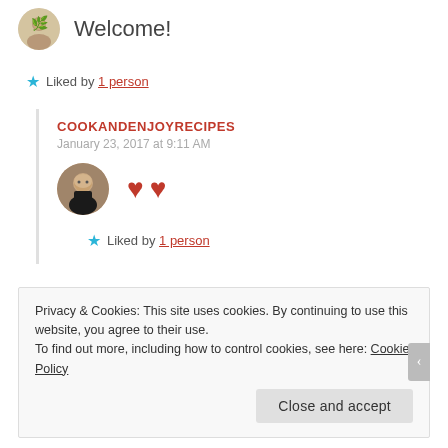Welcome!
★ Liked by 1 person
COOKANDENJOYRECIPES
January 23, 2017 at 9:11 AM
[Figure (photo): Two red heart emojis]
★ Liked by 1 person
Privacy & Cookies: This site uses cookies. By continuing to use this website, you agree to their use.
To find out more, including how to control cookies, see here: Cookie Policy
Close and accept